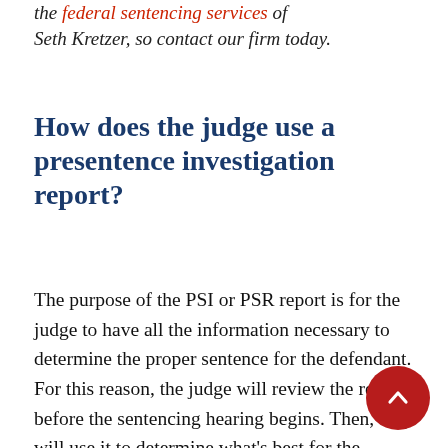the federal sentencing services of Seth Kretzer, so contact our firm today.
How does the judge use a presentence investigation report?
The purpose of the PSI or PSR report is for the judge to have all the information necessary to determine the proper sentence for the defendant. For this reason, the judge will review the report before the sentencing hearing begins. Then, they will use it to determine what’s best for the victim, the defendant, and society.